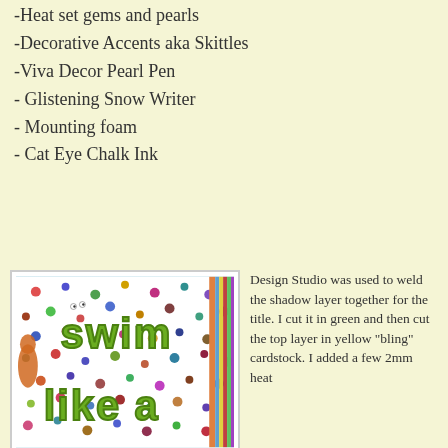-Heat set gems and pearls
-Decorative Accents aka Skittles
-Viva Decor Pearl Pen
- Glistening Snow Writer
- Mounting foam
- Cat Eye Chalk Ink
[Figure (photo): A scrapbook page with 'swim like a' text in green and yellow letters on a white polka-dot background with colorful dots, with a striped border on the right side.]
Design Studio was used to weld the shadow layer together for the title. I cut it in green and then cut the top layer in yellow "bling" cardstock. I added a few 2mm heat